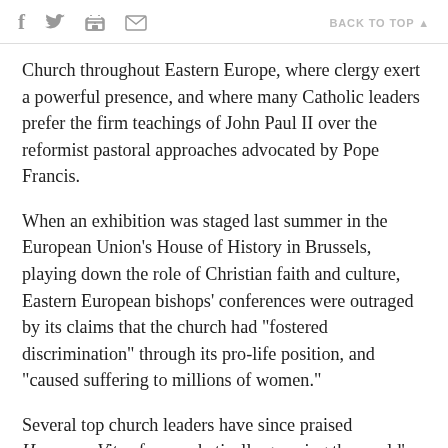f [twitter] [print] [mail]   BACK TO TOP ▲
Church throughout Eastern Europe, where clergy exert a powerful presence, and where many Catholic leaders prefer the firm teachings of John Paul II over the reformist pastoral approaches advocated by Pope Francis.
When an exhibition was staged last summer in the European Union's House of History in Brussels, playing down the role of Christian faith and culture, Eastern European bishops' conferences were outraged by its claims that the church had "fostered discrimination" through its pro-life position, and "caused suffering to millions of women."
Several top church leaders have since praised Humanae Vitae for prophetically grasping the world's moral and social dilemmas.